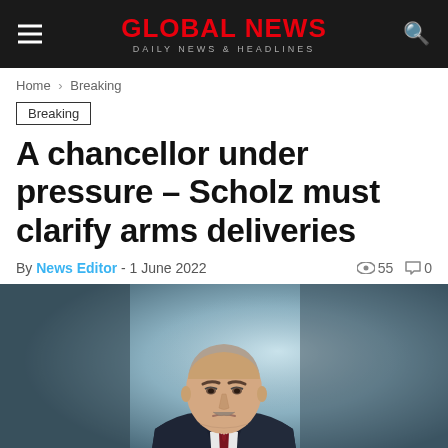GLOBAL NEWS — DAILY NEWS & HEADLINES
Home > Breaking
Breaking
A chancellor under pressure – Scholz must clarify arms deliveries
By News Editor - 1 June 2022  👁 55  💬 0
[Figure (photo): Portrait photo of Olaf Scholz in a dark suit and dark red tie, looking downward with a serious expression, against a bluish-grey background.]